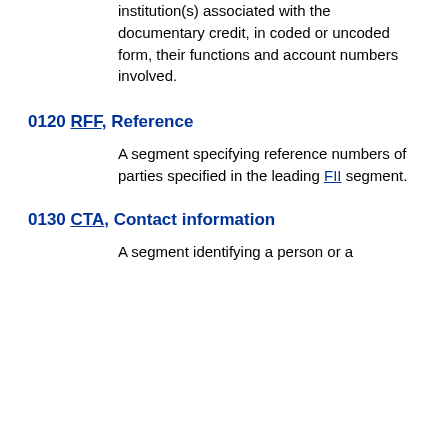institution(s) associated with the documentary credit, in coded or uncoded form, their functions and account numbers involved.
0120 RFF, Reference
A segment specifying reference numbers of parties specified in the leading FII segment.
0130 CTA, Contact information
A segment identifying a person or a